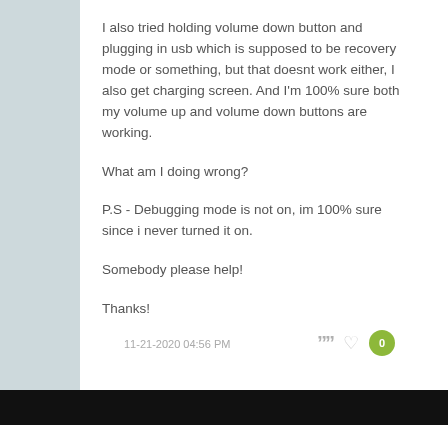I also tried holding volume down button and plugging in usb which is supposed to be recovery mode or something, but that doesnt work either, I also get charging screen. And I'm 100% sure both my volume up and volume down buttons are working.

What am I doing wrong?

P.S - Debugging mode is not on, im 100% sure since i never turned it on.

Somebody please help!

Thanks!
11-21-2020 04:56 PM